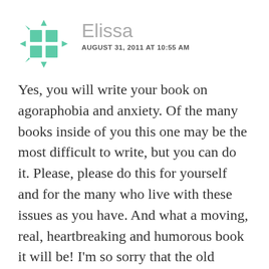[Figure (illustration): Green geometric avatar icon with a grid of four squares in the center and triangular arrow points extending from each side, resembling a star or compass shape]
Elissa
AUGUST 31, 2011 AT 10:55 AM
Yes, you will write your book on agoraphobia and anxiety. Of the many books inside of you this one may be the most difficult to write, but you can do it. Please, please do this for yourself and for the many who live with these issues as you have. And what a moving, real, heartbreaking and humorous book it will be! I'm so sorry that the old anxieties flared in Colorado. You can turn the experience on